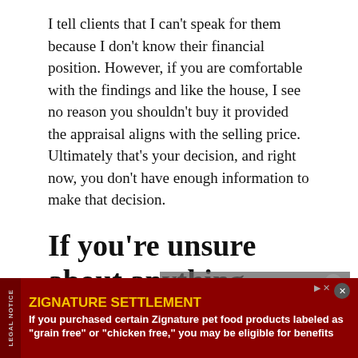I tell clients that I can't speak for them because I don't know their financial position. However, if you are comfortable with the findings and like the house, I see no reason you shouldn't buy it provided the appraisal aligns with the selling price. Ultimately that's your decision, and right now, you don't have enough information to make that decision.
If you're unsure about anything, ask.
Finally, if you're not sure about anything during the home inspection or afterward, you should
[Figure (screenshot): Video player overlay showing 'No compatible source was found for this media.' message with close button]
LEGAL NOTICE — ZIGNATURE SETTLEMENT: If you purchased certain Zignature pet food products labeled as "grain free" or "chicken free," you may be eligible for benefits